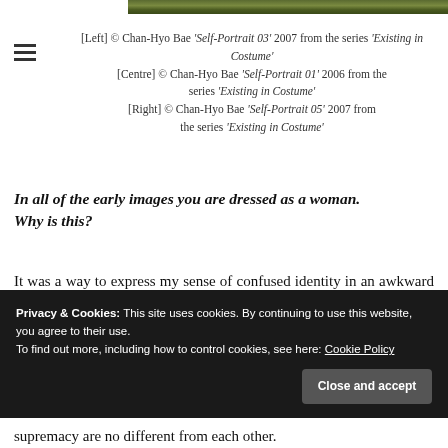[Figure (photo): Partial view of a nature/foliage photograph strip at the top of the page]
[Left] © Chan-Hyo Bae 'Self-Portrait 03' 2007 from the series 'Existing in Costume'
[Centre] © Chan-Hyo Bae 'Self-Portrait 01' 2006 from the series 'Existing in Costume'
[Right] © Chan-Hyo Bae 'Self-Portrait 05' 2007 from the series 'Existing in Costume'
In all of the early images you are dressed as a woman. Why is this?
It was a way to express my sense of confused identity in an awkward place. I was becoming increasingly
Privacy & Cookies: This site uses cookies. By continuing to use this website, you agree to their use.
To find out more, including how to control cookies, see here: Cookie Policy
supremacy are no different from each other.